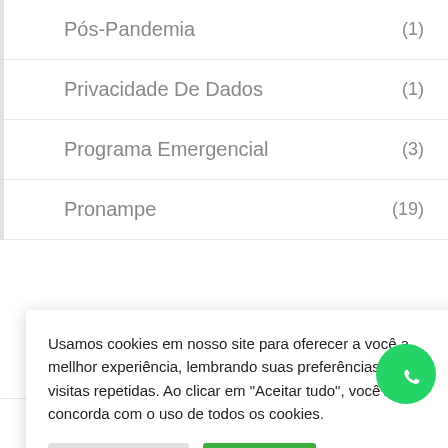Pós-Pandemia (1)
Privacidade De Dados (1)
Programa Emergencial (3)
Pronampe (19)
Usamos cookies em nosso site para oferecer a você a mellhor experiência, lembrando suas preferências e visitas repetidas. Ao clicar em "Aceitar tudo", você concorda com o uso de todos os cookies.
Recessão Econômica (1)